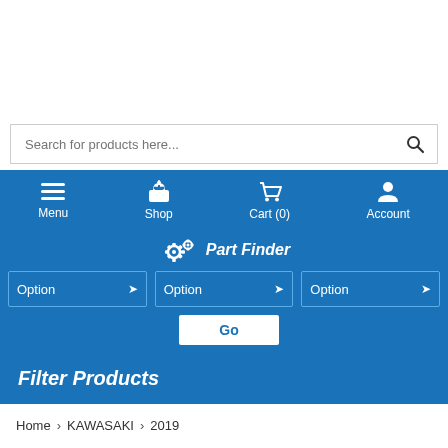[Figure (screenshot): Search bar with placeholder text 'Search for products here...' and a magnifying glass search button]
Menu | Shop | Cart (0) | Account
Part Finder
Option | Option | Option (dropdowns) | Go
Filter Products
Home > KAWASAKI > 2019